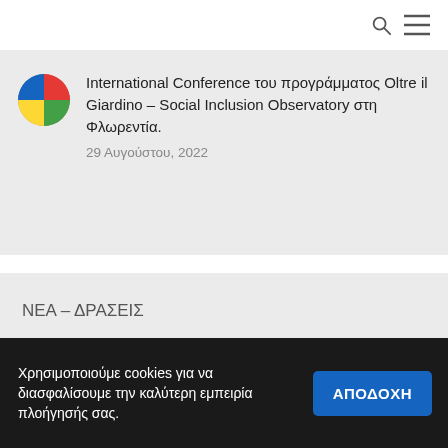International Conference του προγράμματος Oltre il Giardino – Social Inclusion Observatory στη Φλωρεντία.
29 Αυγούστου, 2022
ΝΕΑ – ΔΡΑΣΕΙΣ
ΤΕΛΕΥΤΑΙΑ ΝΕΑ
ΕΘΝΙΚΑ ΠΡΟΓΡΑΜΜΑΤΑ
ΕΥΡΩΠΑΪΚΑ ΠΡΟΓΡΑΜΜΑΤΑ-3
Χρησιμοποιούμε cookies για να διασφαλίσουμε την καλύτερη εμπειρία πλοήγησής σας.